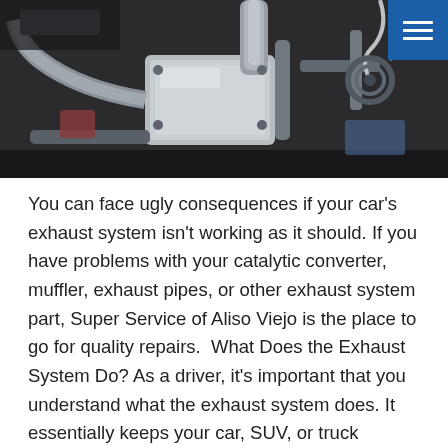[Figure (photo): Close-up photograph of a car exhaust system showing catalytic converter, exhaust pipes, muffler, and undercarriage components in metallic silver/chrome finish]
You can face ugly consequences if your car's exhaust system isn't working as it should. If you have problems with your catalytic converter, muffler, exhaust pipes, or other exhaust system part, Super Service of Aliso Viejo is the place to go for quality repairs.  What Does the Exhaust System Do? As a driver, it's important that you understand what the exhaust system does. It essentially keeps your car, SUV, or truck running well by sending toxic exhaust gasses away from your engine and out the tailpipe. Other than the cost of repairs, the biggest concern of exhaust problems is that the fumes can travel into your passenger cabin. Furthermore, a